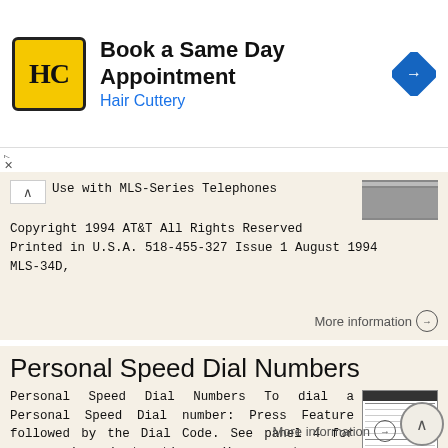[Figure (infographic): Hair Cuttery advertisement banner with HC logo, 'Book a Same Day Appointment' title, Hair Cuttery subtitle in blue, and navigation icon]
Use with MLS-Series Telephones
Copyright 1994 AT&T All Rights Reserved
Printed in U.S.A. 518-455-327 Issue 1 August 1994
MLS-34D,
More information →
Personal Speed Dial Numbers
Personal Speed Dial Numbers To dial a Personal Speed Dial number: Press Feature followed by the Dial Code. See panel 4 for programming instructions. Your system may also be programmed with System Speed
More information →